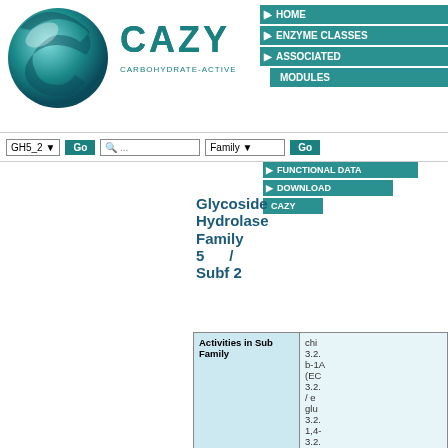[Figure (logo): CAZy database logo with teal circular icon and CAZY text with subtitle Carbohydrate-Active enZYmes]
HOME | ENZYME CLASSES | ASSOCIATED MODULES | FUNCTIONAL DATA | DOWNLOAD | CAZY
GH5_2  Go  Search...  Family  Go
Glycoside Hydrolase Family 5 / Subf 2
| Property | Value |
| --- | --- |
| Activities in Sub Family | chitinase (EC 3.2.1.14); b-1,4-endoglucanase (EC 3.2.1.4) / endo-beta-1,4-glucanase (EC 3.2.1.4); 1,4-b-glucan (EC 3.2... |
| Mechanism | Retaining |
| Clan | GH-A |
| 3D Structure Status | ( β/α )8 |
| Catalytic Nucleophile/Base | Glu (ex... |